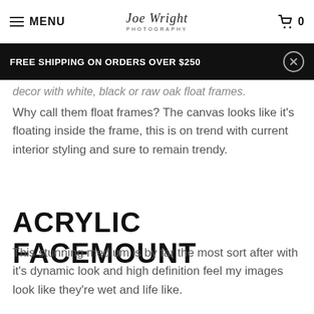MENU | Joe Wright Photography | 0
FREE SHIPPING ON ORDERS OVER $250
decor with white, black or raw oak float frames.
Why call them float frames? The canvas looks like it's floating inside the frame, this is on trend with current interior styling and sure to remain trendy.
ACRYLIC FACEMOUNT
This stunning medium is by far the most sort after with it's dynamic look and high definition feel my images look like they're wet and life like.